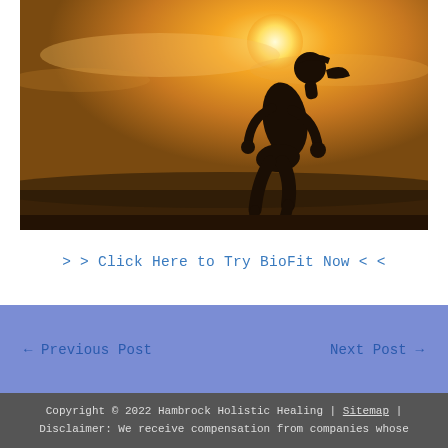[Figure (photo): Silhouette of a woman running at sunset with golden sky and sun in the background]
> > Click Here to Try BioFit Now < <
← Previous Post
Next Post →
Copyright © 2022 Hambrock Holistic Healing | Sitemap | Disclaimer: We receive compensation from companies whose